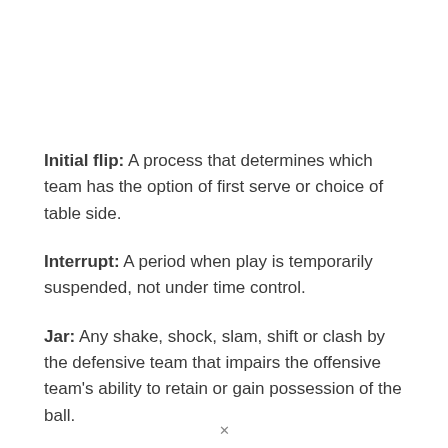Initial flip: A process that determines which team has the option of first serve or choice of table side.
Interrupt: A period when play is temporarily suspended, not under time control.
Jar: Any shake, shock, slam, shift or clash by the defensive team that impairs the offensive team's ability to retain or gain possession of the ball.